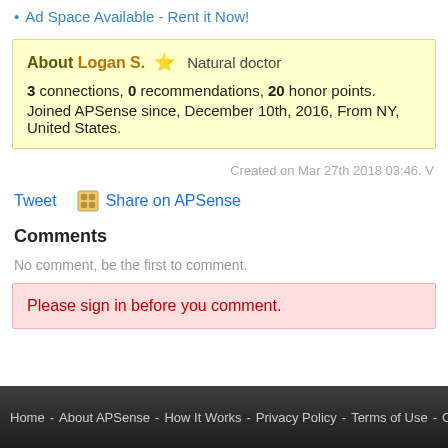Ad Space Available - Rent it Now!
About Logan S. ★  Natural doctor
3 connections, 0 recommendations, 20 honor points.
Joined APSense since, December 10th, 2016, From NY, United States.
Created on Mar 27th 2018 03:46. V
Tweet   Share on APSense
Comments
No comment, be the first to comment.
Please sign in before you comment.
Home - About APSense - How It Works - Privacy Policy - Terms of Use - Contact Us